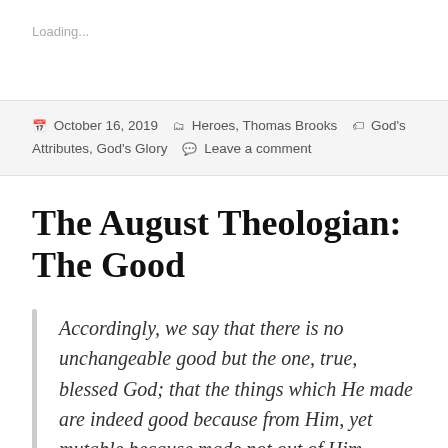Loading...
October 16, 2019   Heroes, Thomas Brooks   God's Attributes, God's Glory   Leave a comment
The August Theologian: The Good
Accordingly, we say that there is no unchangeable good but the one, true, blessed God; that the things which He made are indeed good because from Him, yet mutable because made not out of Him,